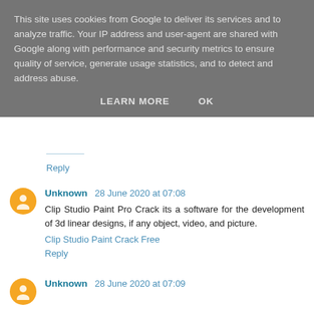This site uses cookies from Google to deliver its services and to analyze traffic. Your IP address and user-agent are shared with Google along with performance and security metrics to ensure quality of service, generate usage statistics, and to detect and address abuse.
LEARN MORE   OK
Reply
Unknown 28 June 2020 at 07:08
Clip Studio Paint Pro Crack its a software for the development of 3d linear designs, if any object, video, and picture.
Clip Studio Paint Crack Free
Reply
Unknown 28 June 2020 at 07:09